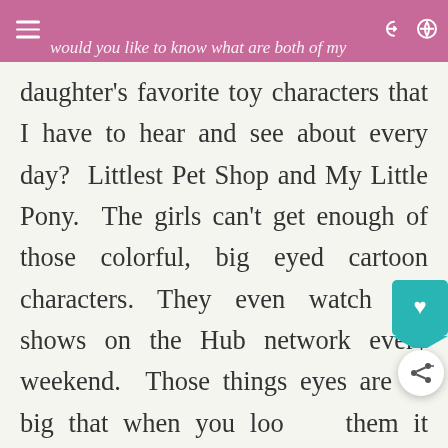would you like to know what are both of my
daughter's favorite toy characters that I have to hear and see about every day?  Littlest Pet Shop and My Little Pony.  The girls can't get enough of those colorful, big eyed cartoon characters. They even watch the shows on the Hub network every weekend.  Those things eyes are so big that when you look at them it looks like their eyes are piercing through your soul!